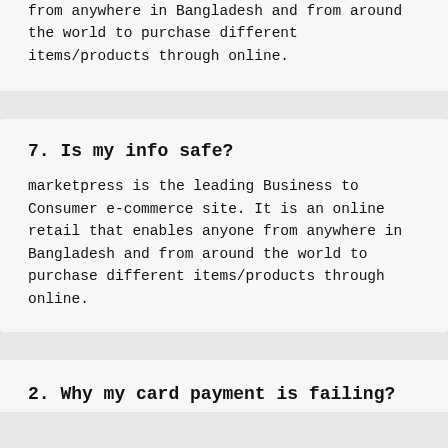from anywhere in Bangladesh and from around the world to purchase different items/products through online.
7. Is my info safe?
marketpress is the leading Business to Consumer e-commerce site. It is an online retail that enables anyone from anywhere in Bangladesh and from around the world to purchase different items/products through online.
2. Why my card payment is failing?